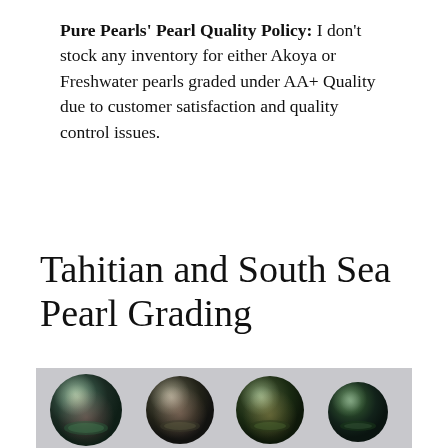Pure Pearls' Pearl Quality Policy: I don't stock any inventory for either Akoya or Freshwater pearls graded under AA+ Quality due to customer satisfaction and quality control issues.
Tahitian and South Sea Pearl Grading
[Figure (photo): Four dark Tahitian pearls in a row on a light grey background, showing lustrous green-black coloring with pink and iridescent overtones, arranged from left to right in descending size order.]